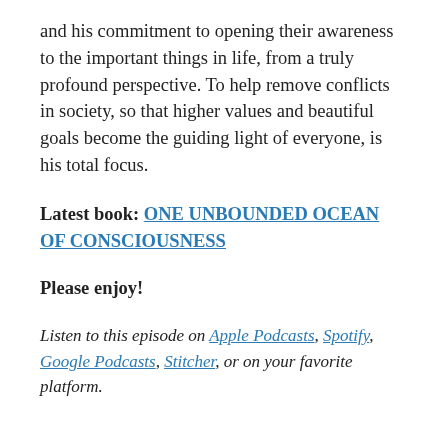and his commitment to opening their awareness to the important things in life, from a truly profound perspective. To help remove conflicts in society, so that higher values and beautiful goals become the guiding light of everyone, is his total focus.
Latest book: ONE UNBOUNDED OCEAN OF CONSCIOUSNESS
Please enjoy!
Listen to this episode on Apple Podcasts, Spotify, Google Podcasts, Stitcher, or on your favorite platform.